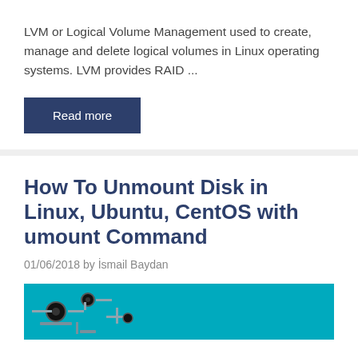LVM or Logical Volume Management used to create, manage and delete logical volumes in Linux operating systems. LVM provides RAID ...
Read more
How To Unmount Disk in Linux, Ubuntu, CentOS with umount Command
01/06/2018 by İsmail Baydan
[Figure (photo): Partial view of a circuit board or electronics component on a cyan/teal background]